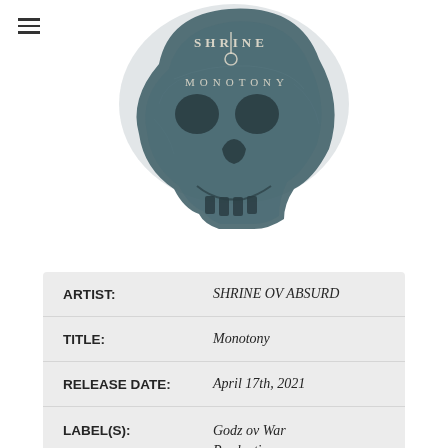[Figure (illustration): Skull illustration with 'SHRINE OV MONOTONY' text overlaid on the image in dark teal/slate color, occupying the upper portion of the page]
| Field | Value |
| --- | --- |
| ARTIST: | SHRINE OV ABSURD |
| TITLE: | Monotony |
| RELEASE DATE: | April 17th, 2021 |
| LABEL(S): | Godz ov War Productions |